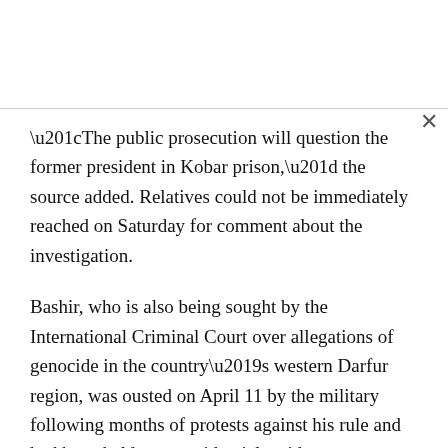“The public prosecution will question the former president in Kobar prison,” the source added. Relatives could not be immediately reached on Saturday for comment about the investigation.
Bashir, who is also being sought by the International Criminal Court over allegations of genocide in the country’s western Darfur region, was ousted on April 11 by the military following months of protests against his rule and had been held at a presidential residence.
April 18: Bashir’s brothers detained